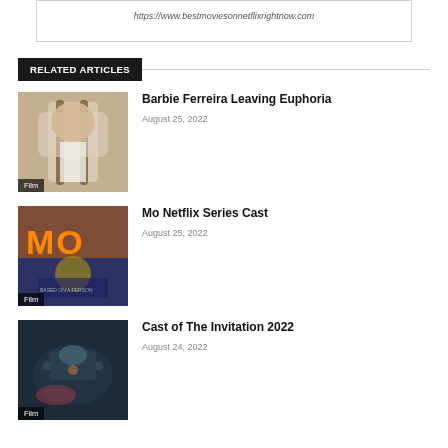https://www.bestmoviesonnetflixrightnow.com
RELATED ARTICLES
[Figure (photo): Woman with long braids wearing white top, Film badge overlay]
Barbie Ferreira Leaving Euphoria
August 25, 2022
[Figure (photo): Mo Netflix series colorful poster with orange MO text, Film badge overlay]
Mo Netflix Series Cast
August 25, 2022
[Figure (photo): Dark moody scene from The Invitation 2022, Film badge overlay]
Cast of The Invitation 2022
August 24, 2022